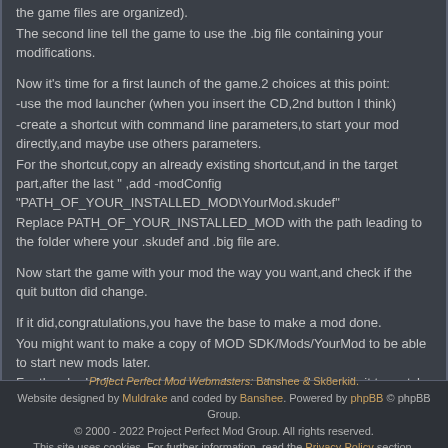the game files are organized).
The second line tell the game to use the .big file containing your modifications.
Now it's time for a first launch of the game.2 choices at this point:
-use the mod launcher (when you insert the CD,2nd button I think)
-create a shortcut with command line parameters,to start your mod directly,and maybe use others parameters.
For the shortcut,copy an already existing shortcut,and in the target part,after the last " ,add -modConfig "PATH_OF_YOUR_INSTALLED_MOD\YourMod.skudef"
Replace PATH_OF_YOUR_INSTALLED_MOD with the path leading to the folder where your .skudef and .big file are.
Now start the game with your mod the way you want,and check if the quit button did change.
If it did,congratulations,you have the base to make a mod done.
You might want to make a copy of MOD SDK/Mods/YourMod to be able to start new mods later.
For the skudef file,you just have to change the mod name in it to match the mod folder and the .big file filename,not sure if it's worth a copy.
Now that that is done,time to really start creating the mod.
Project Perfect Mod Webmasters: Banshee & Sk8erkid. Website designed by Muldrake and coded by Banshee. Powered by phpBB © phpBB Group. © 2000 - 2022 Project Perfect Mod Group. All rights reserved. This site uses cookies. For further information, read the Privacy Policy section.